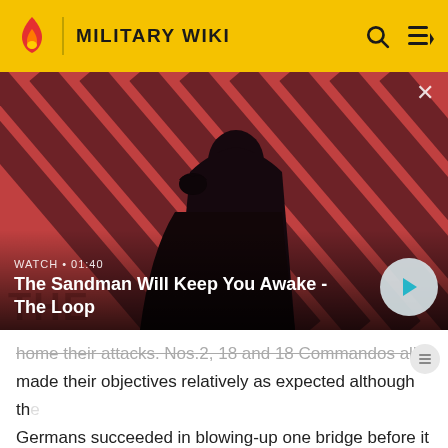MILITARY WIKI
[Figure (screenshot): Video thumbnail for 'The Sandman Will Keep You Awake - The Loop' showing a dark-clad figure with a raven on their shoulder against a red and black striped background. Shows WATCH • 01:40 label and play button.]
WATCH • 01:40
The Sandman Will Keep You Awake - The Loop
home their attacks. Nos.2, 18 and 18 Commandos all made their objectives relatively as expected although the Germans succeeded in blowing-up one bridge before it was captured by No.2 Commando. No. 9 Commando initially made good progress until No. 5 and No. 6 Troops (especially 5 Troop), became seriously pinned down